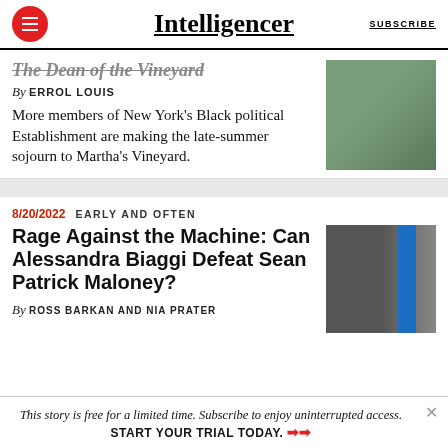Intelligencer | SUBSCRIBE
[The Dean of the Vineyard]
By ERROL LOUIS
More members of New York's Black political Establishment are making the late-summer sojourn to Martha's Vineyard.
[Figure (photo): Photo of a building exterior with greenery]
8/20/2022  EARLY AND OFTEN
Rage Against the Machine: Can Alessandra Biaggi Defeat Sean Patrick Maloney?
By ROSS BARKAN AND NIA PRATER
[Figure (photo): Black and white photo of two people with blue stripe element]
This story is free for a limited time. Subscribe to enjoy uninterrupted access. START YOUR TRIAL TODAY. ➤➤